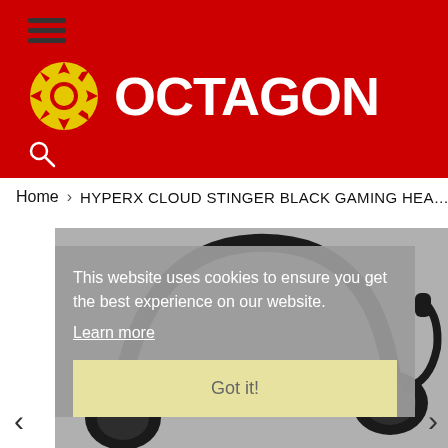OCTAGON - website header with logo and hamburger menu
Home > HYPERX CLOUD STINGER BLACK GAMING HEAD
[Figure (photo): HyperX Cloud Stinger black gaming headset on grey background with cookie consent overlay. The overlay reads: This website uses cookies to ensure you get the best experience on our website. Learn more. Got it! Navigation arrows on left and right.]